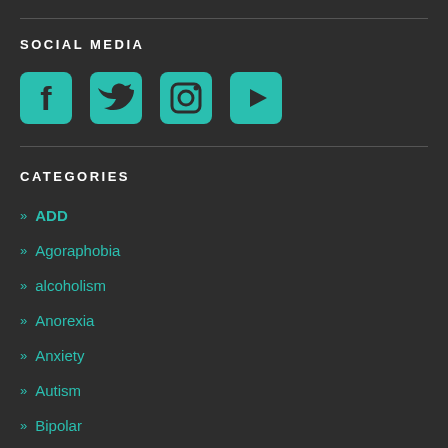SOCIAL MEDIA
[Figure (illustration): Four social media icons in teal: Facebook, Twitter, Instagram, YouTube]
CATEGORIES
» ADD
» Agoraphobia
» alcoholism
» Anorexia
» Anxiety
» Autism
» Bipolar